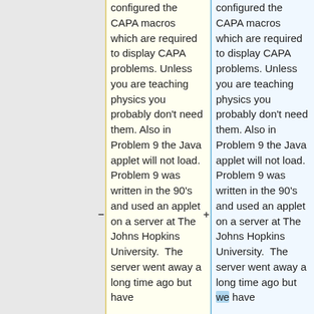configured the CAPA macros which are required to display CAPA problems. Unless you are teaching physics you probably don't need them. Also in Problem 9 the Java applet will not load. Problem 9 was written in the 90's and used an applet on a server at The Johns Hopkins University.  The server went away a long time ago but have
configured the CAPA macros which are required to display CAPA problems. Unless you are teaching physics you probably don't need them. Also in Problem 9 the Java applet will not load. Problem 9 was written in the 90's and used an applet on a server at The Johns Hopkins University.  The server went away a long time ago but we have